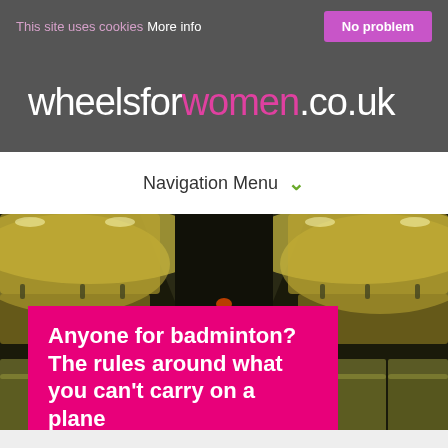This site uses cookies More info | No problem
wheelsforwomen.co.uk
Navigation Menu
[Figure (photo): Interior of an airplane cabin viewed from the aisle, showing overhead luggage compartments illuminated by warm yellow lighting, seat rows visible on both sides]
Anyone for badminton? The rules around what you can't carry on a plane